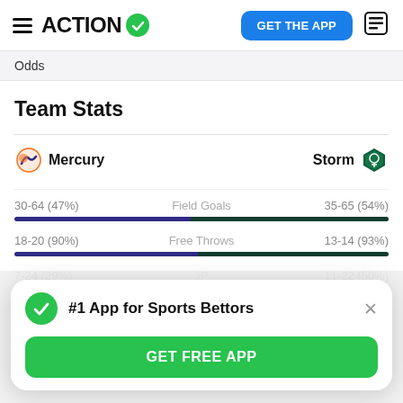ACTION
Odds
Team Stats
| Mercury |  | Storm |
| --- | --- | --- |
| 30-64 (47%) | Field Goals | 35-65 (54%) |
| 18-20 (90%) | Free Throws | 13-14 (93%) |
| 7-24 (29%) | 3P | 11-22 (50%) |
#1 App for Sports Bettors
GET FREE APP